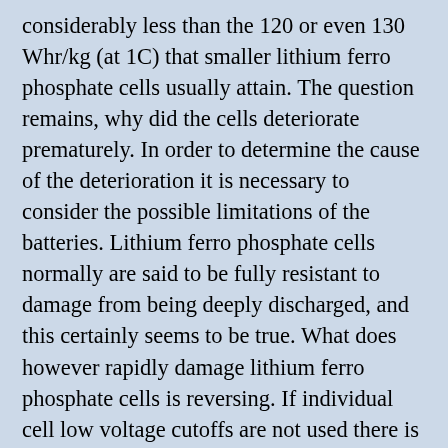considerably less than the 120 or even 130 Whr/kg (at 1C) that smaller lithium ferro phosphate cells usually attain. The question remains, why did the cells deteriorate prematurely. In order to determine the cause of the deterioration it is necessary to consider the possible limitations of the batteries. Lithium ferro phosphate cells normally are said to be fully resistant to damage from being deeply discharged, and this certainly seems to be true. What does however rapidly damage lithium ferro phosphate cells is reversing. If individual cell low voltage cutoffs are not used there is the possibility that deep discharges will cause one or more of the series of cells to experience a reverse voltage. An out of balance condition and cell reversing appears to have been what killed our 26Ahr dingy battery. Most of the cells still worked and held 80% capacity, but one of each of the strings of four cells was totally dead. When I recombined some of the good cells into smaller battery packs they worked just fine as long as they were not deeply discharged. Because the cells